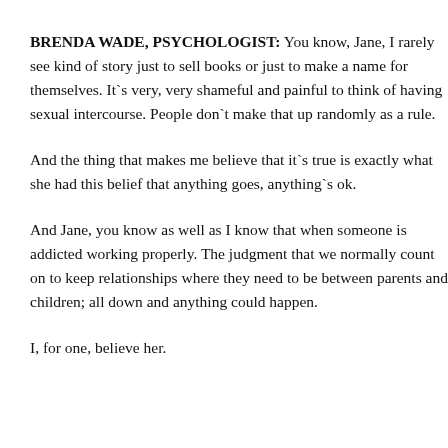BRENDA WADE, PSYCHOLOGIST: You know, Jane, I rarely see kind of story just to sell books or just to make a name for themselves. It`s very, very shameful and painful to think of having sexual intercourse. People don`t make that up randomly as a rule.
And the thing that makes me believe that it`s true is exactly what she had this belief that anything goes, anything`s ok.
And Jane, you know as well as I know that when someone is addicted working properly. The judgment that we normally count on to keep relationships where they need to be between parents and children; all down and anything could happen.
I, for one, believe her.